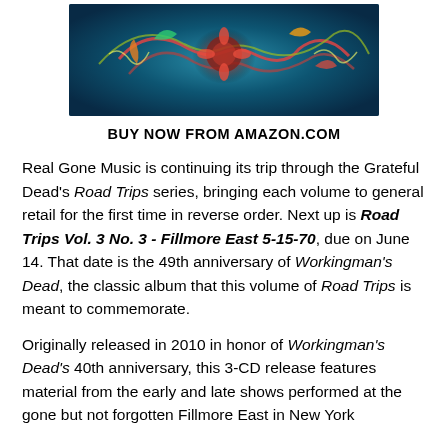[Figure (illustration): Colorful psychedelic album artwork with blues, greens, and reds featuring abstract swirling designs, reminiscent of Grateful Dead artwork]
BUY NOW FROM AMAZON.COM
Real Gone Music is continuing its trip through the Grateful Dead's Road Trips series, bringing each volume to general retail for the first time in reverse order.  Next up is Road Trips Vol. 3 No. 3 - Fillmore East 5-15-70, due on June 14.  That date is the 49th anniversary of Workingman's Dead, the classic album that this volume of Road Trips is meant to commemorate.
Originally released in 2010 in honor of Workingman's Dead's 40th anniversary, this 3-CD release features material from the early and late shows performed at the gone but not forgotten Fillmore East in New York